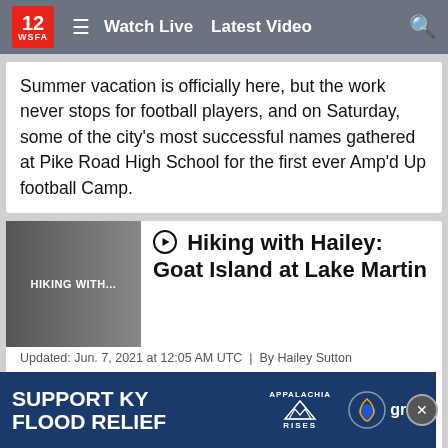12 WSFA | Watch Live | Latest Video
Summer vacation is officially here, but the work never stops for football players, and on Saturday, some of the city's most successful names gathered at Pike Road High School for the first ever Amp'd Up football Camp.
[Figure (screenshot): Thumbnail label reading 'HIKING WITH...' on dark gradient background]
Hiking with Hailey: Goat Island at Lake Martin
Updated: Jun. 7, 2021 at 12:05 AM UTC  |  By Hailey Sutton
Here on Hiking with Hailey, we're no strangers to wildlife – remember last season when we hung out with alligators at Alligator Alley? For this week's episode, we're going a little bit more domestic; we're checking out goats on Goat Island.
[Figure (infographic): Ad banner: SUPPORT KY FLOOD RELIEF | Appalachia Rises | Gray logo]